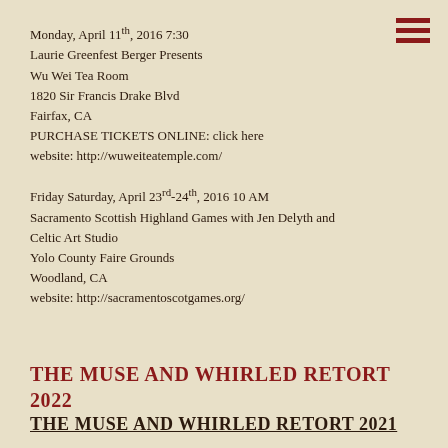[Figure (other): Hamburger menu icon with three dark red horizontal bars in the top right corner]
Monday, April 11th, 2016 7:30
Laurie Greenfest Berger Presents
Wu Wei Tea Room
1820 Sir Francis Drake Blvd
Fairfax, CA
PURCHASE TICKETS ONLINE: click here
website: http://wuweiteatemple.com/
Friday Saturday, April 23rd-24th, 2016 10 AM
Sacramento Scottish Highland Games with Jen Delyth and Celtic Art Studio
Yolo County Faire Grounds
Woodland, CA
website: http://sacramentoscotgames.org/
THE MUSE AND WHIRLED RETORT 2022
THE MUSE AND WHIRLED RETORT 2021